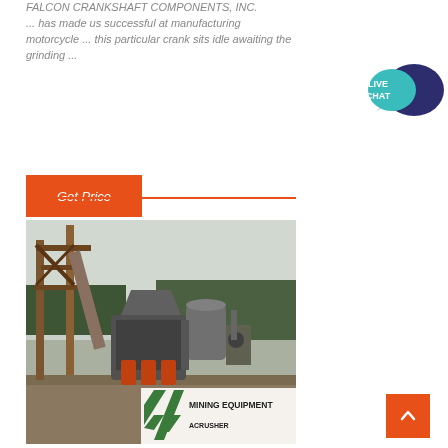FALCON CRANKSHAFT COMPONENTS, INC. ... has made us successful at manufacturing motorcycle ... this particular crank sits idle awaiting the grinding ...
[Figure (other): Orange 'Get Price' button with horizontal orange line extending to the right]
[Figure (photo): Outdoor photo of heavy mining/crushing equipment with 'MINING EQUIPMENT ACRUSHER' banner in foreground, rusty structures, grey machinery near a river with trees]
[Figure (illustration): Live Chat speech bubble icon in teal and dark purple/navy]